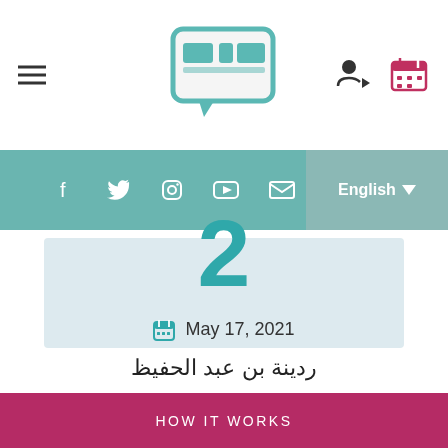[Figure (logo): Arabic website logo in a speech bubble shape with teal border]
[Figure (infographic): Navigation bar with hamburger menu on left, user icon and calendar icon on right]
[Figure (infographic): Teal social media bar with Facebook, Twitter, Instagram, YouTube, email icons, and English language selector]
2
May 17, 2021
ردينة بن عبد الحفيظ
HOW IT WORKS